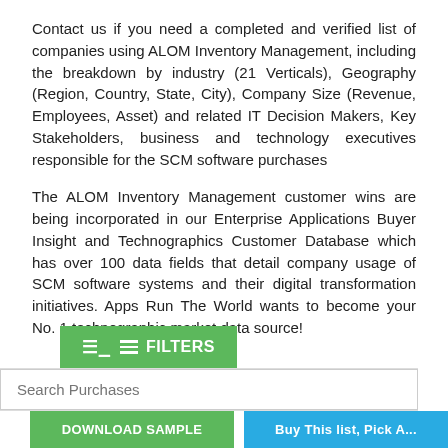Contact us if you need a completed and verified list of companies using ALOM Inventory Management, including the breakdown by industry (21 Verticals), Geography (Region, Country, State, City), Company Size (Revenue, Employees, Asset) and related IT Decision Makers, Key Stakeholders, business and technology executives responsible for the SCM software purchases
The ALOM Inventory Management customer wins are being incorporated in our Enterprise Applications Buyer Insight and Technographics Customer Database which has over 100 data fields that detail company usage of SCM software systems and their digital transformation initiatives. Apps Run The World wants to become your No. 1 technographic market data source!